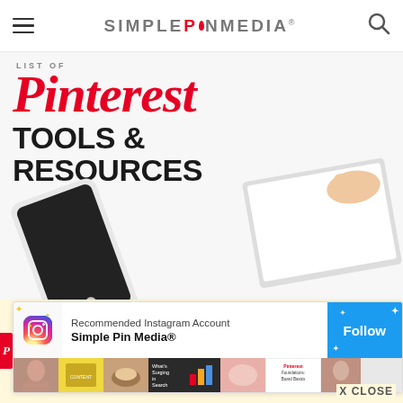SIMPLE PIN MEDIA
[Figure (infographic): Blog post feature image for Simple Pin Media showing Pinterest Tools & Resources with a script red 'Pinterest' title, bold black 'TOOLS & RESOURCES' text, a smartphone and laptop/notebook on a white background]
[Figure (screenshot): Recommended Instagram Account banner: Simple Pin Media® with Follow button (blue), Instagram logo, and a strip of thumbnail images from the Instagram feed including 'What's Surging in Search on Pinterest?' and 'Pinterest Foundations: Board Basics']
X CLOSE